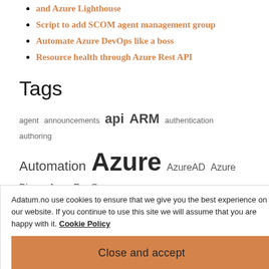and Azure Lighthouse
Script to add SCOM agent management group
Automate Azure DevOps like a boss
Resource health through Azure Rest API
Tags
agent announcements api ARM authentication authoring Automation Azure AzureAD Azure Bicep AzureDevOps AzureFunctions AzureLighthouse AzureManagement AzureMonitor AzureSpringClean Bicep Community CSP
Adatum.no use cookies to ensure that we give you the best experience on our website. If you continue to use this site we will assume that you are happy with it. Cookie Policy
Close and accept
PowerShell QuickPublish Test SCOM Serverless